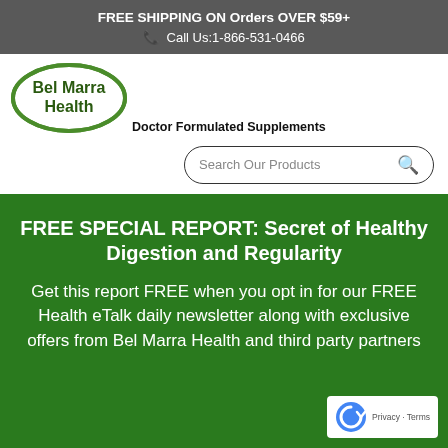FREE SHIPPING ON Orders OVER $59+
📞 Call Us:1-866-531-0466
[Figure (logo): Bel Marra Health oval green logo with text 'Bel Marra Health' inside]
Doctor Formulated Supplements
[Figure (other): Search Our Products search box with magnifying glass icon]
FREE SPECIAL REPORT: Secret of Healthy Digestion and Regularity
Get this report FREE when you opt in for our FREE Health eTalk daily newsletter along with exclusive offers from Bel Marra Health and third party partners